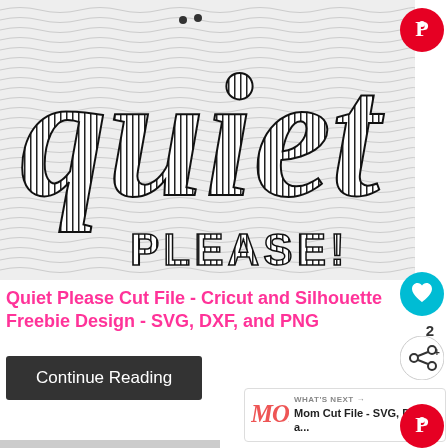[Figure (illustration): Decorative SVG cut file design showing 'quiet' in large cursive lettering with horizontal stripes fill, and 'PLEASE!' in bold block letters below, on a wavy line background]
Quiet Please Cut File - Cricut and Silhouette Freebie Design - SVG, DXF, and PNG
Continue Reading
WHAT'S NEXT → Mom Cut File - SVG, DXF a...